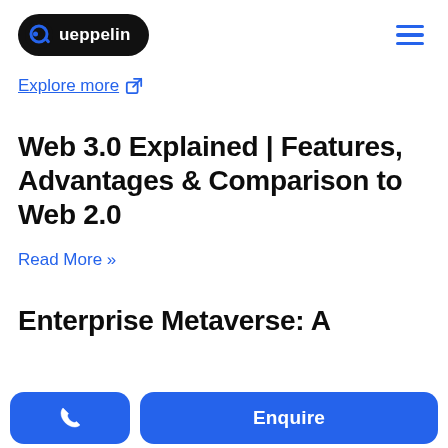Queppelin [logo] [hamburger menu]
Explore more [external link icon]
Web 3.0 Explained | Features, Advantages & Comparison to Web 2.0
Read More »
Enterprise Metaverse: A
[phone button] Enquire